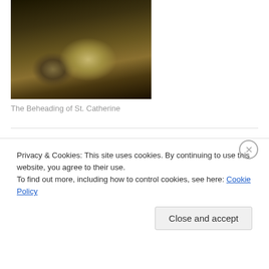[Figure (photo): Painting of The Beheading of St. Catherine — a dark classical painting showing a reclining figure]
The Beheading of St. Catherine
Our Music
[Figure (photo): Photo of a music performance in an ornate red-curtained venue with performers in formal attire]
Privacy & Cookies: This site uses cookies. By continuing to use this website, you agree to their use.
To find out more, including how to control cookies, see here: Cookie Policy
Close and accept